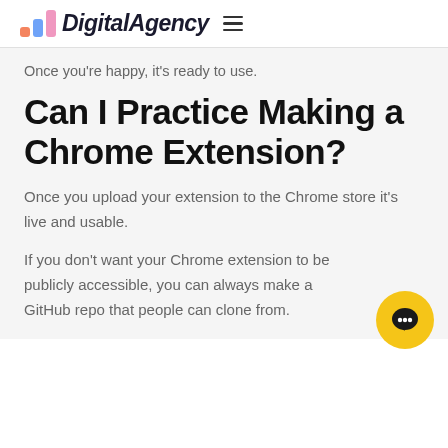DigitalAgency
Once you're happy, it's ready to use.
Can I Practice Making a Chrome Extension?
Once you upload your extension to the Chrome store it's live and usable.
If you don't want your Chrome extension to be publicly accessible, you can always make a GitHub repo that people can clone from.
[Figure (illustration): Yellow circular chat button with dark chat bubble icon in bottom-right corner]